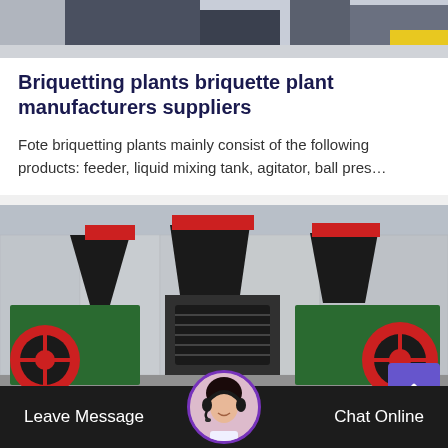[Figure (photo): Top of industrial machinery/equipment in a warehouse setting, partially cropped at top of page]
Briquetting plants briquette plant manufacturers suppliers
Fote briquetting plants mainly consist of the following products: feeder, liquid mixing tank, agitator, ball pres…
[Figure (photo): Industrial briquetting machines/roller presses with green and red components, black hoppers, in an outdoor/semi-outdoor setting]
Leave Message  Chat Online